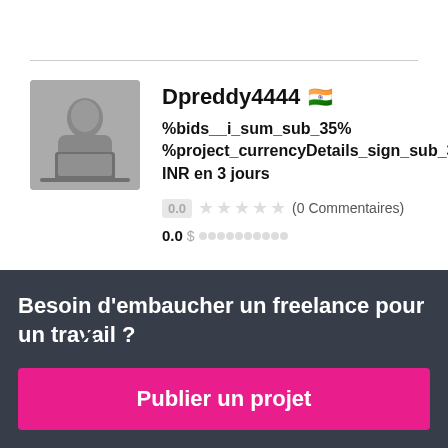[Figure (photo): Profile avatar photo of a person working on a laptop, shown in a square thumbnail]
Dpreddy4444 🇮🇳
%bids__i_sum_sub_35% %project_currencyDetails_sign_sub_36% INR en 3 jours
0.0 ★★★★★ (0 Commentaires)
0.0 $ ██████████
Besoin d'embaucher un freelance pour un travail ?
Publier un projet